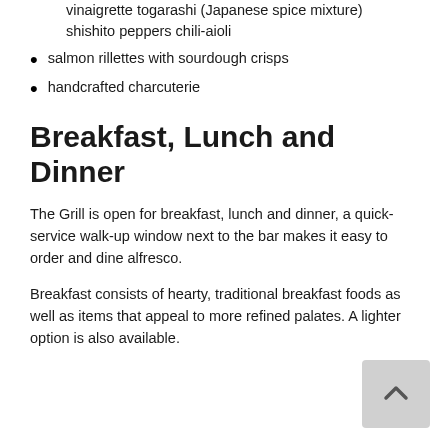vinaigrette togarashi (Japanese spice mixture)  shishito peppers chili-aioli
salmon rillettes with sourdough crisps
handcrafted charcuterie
Breakfast, Lunch and Dinner
The Grill is open for breakfast, lunch and dinner, a quick-service walk-up window next to the bar makes it easy to order and dine alfresco.
Breakfast consists of hearty, traditional breakfast foods as well as items that appeal to more refined palates. A lighter option is also available.